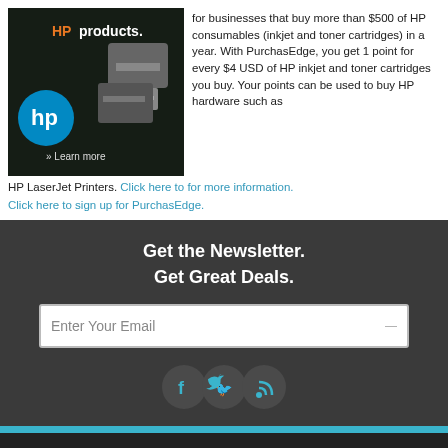[Figure (illustration): HP products advertisement image with HP logo, printers, and 'Learn more' text on dark background]
for businesses that buy more than $500 of HP consumables (inkjet and toner cartridges) in a year. With PurchasEdge, you get 1 point for every $4 USD of HP inkjet and toner cartridges you buy. Your points can be used to buy HP hardware such as HP LaserJet Printers. Click here to for more information. Click here to sign up for PurchasEdge.
Get the Newsletter. Get Great Deals.
Enter Your Email
[Figure (illustration): Social media icons: Facebook, Twitter, RSS feed in circular buttons]
About us